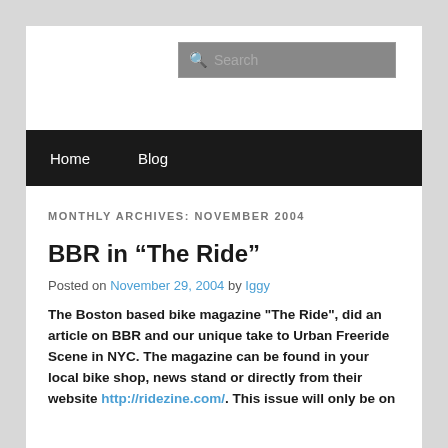[Figure (screenshot): Search bar with magnifying glass icon and placeholder text 'Search']
Home   Blog
MONTHLY ARCHIVES: NOVEMBER 2004
BBR in “The Ride”
Posted on November 29, 2004 by Iggy
The Boston based bike magazine "The Ride", did an article on BBR and our unique take to Urban Freeride Scene in NYC. The magazine can be found in your local bike shop, news stand or directly from their website http://ridezine.com/. This issue will only be on